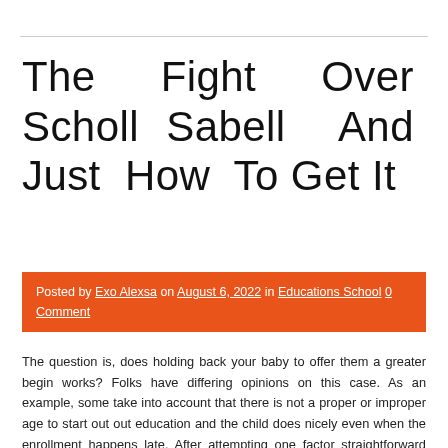The Fight Over Scholl Sabell And Just How To Get It
Posted by Exo Alexsa on August 6, 2022 in Educations School 0 Comment
The question is, does holding back your baby to offer them a greater begin works? Folks have differing opinions on this case. As an example, some take into account that there is not a proper or improper age to start out out education and the child does nicely even when the enrollment happens late. After attempting one factor straightforward similar to the Roses are Purple poem have them try another varieties